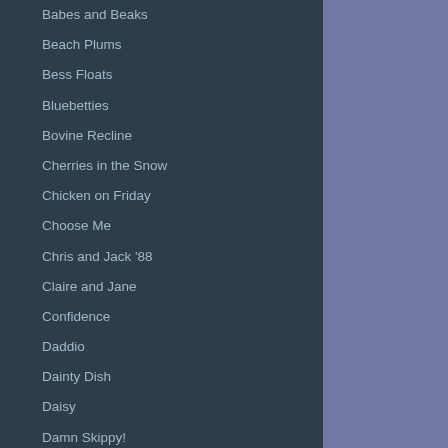Babes and Beaks
Beach Plums
Bess Floats
Bluebetties
Bovine Recline
Cherries in the Snow
Chicken on Friday
Choose Me
Chris and Jack '88
Claire and Jane
Confidence
Daddio
Dainty Dish
Daisy
Damn Skippy!
Decision
Deer Ana
Duckie's Outing